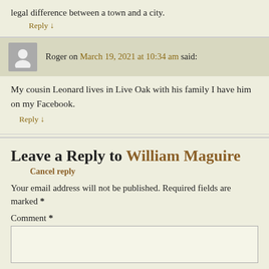legal difference between a town and a city.
Reply ↓
Roger on March 19, 2021 at 10:34 am said:
My cousin Leonard lives in Live Oak with his family I have him on my Facebook.
Reply ↓
Leave a Reply to William Maguire
Cancel reply
Your email address will not be published. Required fields are marked *
Comment *